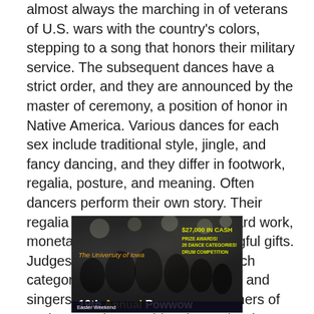almost always the marching in of veterans of U.S. wars with the country's colors, stepping to a song that honors their military service. The subsequent dances have a strict order, and they are announced by the master of ceremony, a position of honor in Native America. Various dances for each sex include traditional style, jingle, and fancy dancing, and they differ in footwork, regalia, posture, and meaning. Often dancers perform their own story. Their regalia are the result of years of hard work, monetary investment, and meaningful gifts. Judges evaluate the dancers in each category, but also the drum groups and singers, who come from many corners of Native America. Besides the cash prize, winning a powwow category honors the dancer or musician, and furthers their own and their family's reputation across Native communities.
[Figure (photo): A black and white promotional photo of the University of Iowa 19th Annual Powwow with yellow text overlay advertising $27,000 in cash prize awards, 26 dance categories, and drum competition. The bottom shows 'Easter Weekend' in a dark banner.]